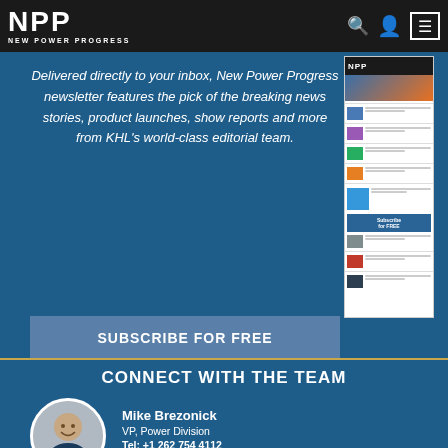NPP NEW POWER PROGRESS
Delivered directly to your inbox, New Power Progress newsletter features the pick of the breaking news stories, product launches, show reports and more from KHL's world-class editorial team.
[Figure (screenshot): NPP newsletter preview thumbnail showing multiple news articles and a Subscribe for FREE button]
SUBSCRIBE FOR FREE
CONNECT WITH THE TEAM
[Figure (photo): Headshot photo of Mike Brezonick in a circular crop]
Mike Brezonick
VP, Power Division
Tel: +1 262 754 4112
E-mail: mike.brezonick@khl.com